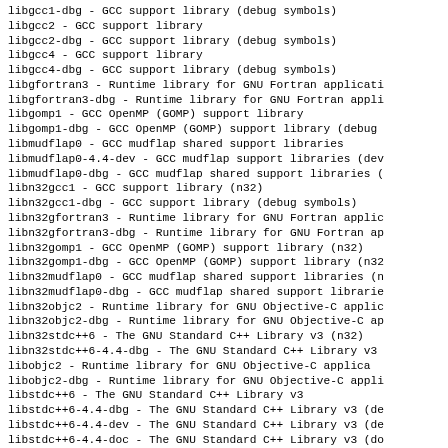libgcc1-dbg - GCC support library (debug symbols)
libgcc2     - GCC support library
libgcc2-dbg - GCC support library (debug symbols)
libgcc4     - GCC support library
libgcc4-dbg - GCC support library (debug symbols)
libgfortran3 - Runtime library for GNU Fortran applicati
libgfortran3-dbg - Runtime library for GNU Fortran appli
libgomp1    - GCC OpenMP (GOMP) support library
libgomp1-dbg - GCC OpenMP (GOMP) support library (debug
libmudflap0 - GCC mudflap shared support libraries
libmudflap0-4.4-dev - GCC mudflap support libraries (dev
libmudflap0-dbg - GCC mudflap shared support libraries (
libn32gcc1 - GCC support library (n32)
libn32gcc1-dbg - GCC support library (debug symbols)
libn32gfortran3 - Runtime library for GNU Fortran applic
libn32gfortran3-dbg - Runtime library for GNU Fortran ap
libn32gomp1 - GCC OpenMP (GOMP) support library (n32)
libn32gomp1-dbg - GCC OpenMP (GOMP) support library (n32
libn32mudflap0 - GCC mudflap shared support libraries (n
libn32mudflap0-dbg - GCC mudflap shared support librarie
libn32objc2 - Runtime library for GNU Objective-C applic
libn32objc2-dbg - Runtime library for GNU Objective-C ap
libn32stdc++6 - The GNU Standard C++ Library v3 (n32)
libn32stdc++6-4.4-dbg - The GNU Standard C++ Library v3
libobjc2    - Runtime library for GNU Objective-C applica
libobjc2-dbg - Runtime library for GNU Objective-C appli
libstdc++6 - The GNU Standard C++ Library v3
libstdc++6-4.4-dbg - The GNU Standard C++ Library v3 (de
libstdc++6-4.4-dev - The GNU Standard C++ Library v3 (de
libstdc++6-4.4-doc - The GNU Standard C++ Library v3 (do